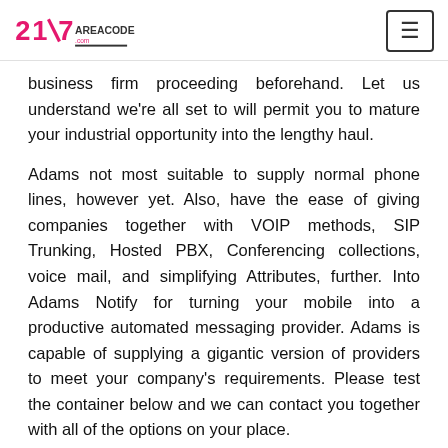217 AREACODE .com
business firm proceeding beforehand. Let us understand we're all set to will permit you to mature your industrial opportunity into the lengthy haul.
Adams not most suitable to supply normal phone lines, however yet. Also, have the ease of giving companies together with VOIP methods, SIP Trunking, Hosted PBX, Conferencing collections, voice mail, and simplifying Attributes, further. Into Adams Notify for turning your mobile into a productive automated messaging provider. Adams is capable of supplying a gigantic version of providers to meet your company's requirements. Please test the container below and we can contact you together with all of the options on your place.